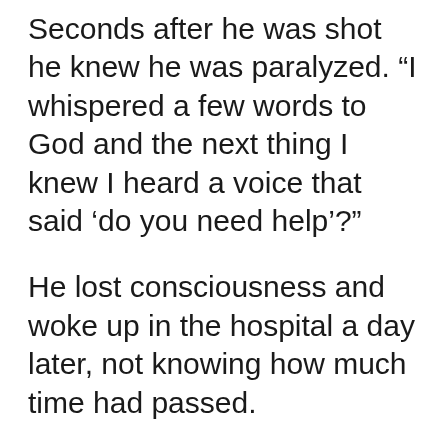Seconds after he was shot he knew he was paralyzed. “I whispered a few words to God and the next thing I knew I heard a voice that said ‘do you need help’?”
He lost consciousness and woke up in the hospital a day later, not knowing how much time had passed.
After a recovery process described as “the darkest time of my life,” Nic Danger was aching to try something new. He saw an article